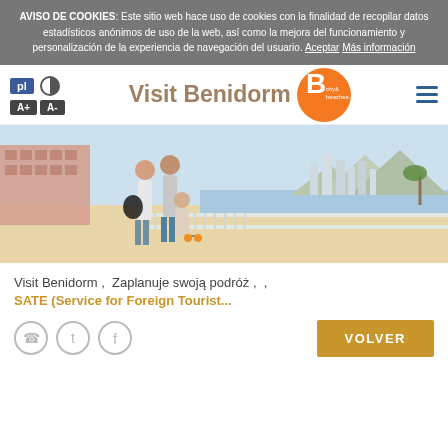AVISO DE COOKIES: Este sitio web hace uso de cookies con la finalidad de recopilar datos estadísticos anónimos de uso de la web, así como la mejora del funcionamiento y personalización de la experiencia de navegación del usuario. Aceptar Más información
[Figure (logo): Visit Benidorm city & beaches logo with navigation controls (pl button, contrast icon, A+ A- font size buttons, hamburger menu)]
[Figure (photo): Hero image showing a family walking on Benidorm beach promenade with city skyline in the background]
Visit Benidorm ,  Zaplanuje swoją podróż ,  ,
SATE (Service for Foreign Tourist...
[Figure (infographic): Social icons: phone, Twitter, Facebook]
VOLVER